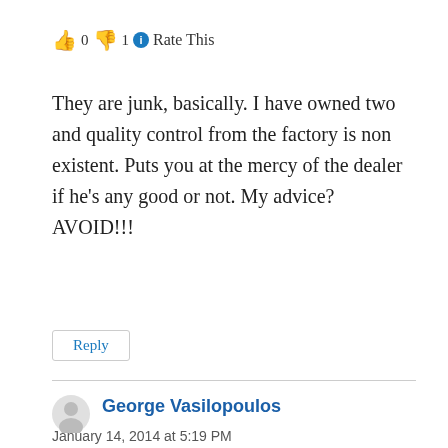👍 0 👎 1 ℹ Rate This
They are junk, basically. I have owned two and quality control from the factory is non existent. Puts you at the mercy of the dealer if he's any good or not. My advice? AVOID!!!
Reply
George Vasilopoulos
January 14, 2014 at 5:19 PM